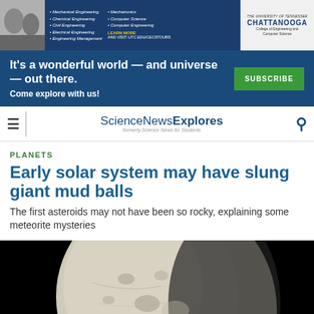[Figure (photo): University of Tennessee Chattanooga College of Engineering and Computer Science advertisement banner with bullet list of engineering programs and UTC logo]
[Figure (infographic): Science News subscription banner: 'It's a wonderful world — and universe — out there. Come explore with us!' with green SUBSCRIBE button on dark blue background]
ScienceNewsExplores (formerly Science News for Students)
PLANETS
Early solar system may have slung giant mud balls
The first asteroids may not have been so rocky, explaining some meteorite mysteries
[Figure (photo): Close-up photograph of a large asteroid or dwarf planet (likely Ceres) showing a cratered, rocky gray surface against a black space background]